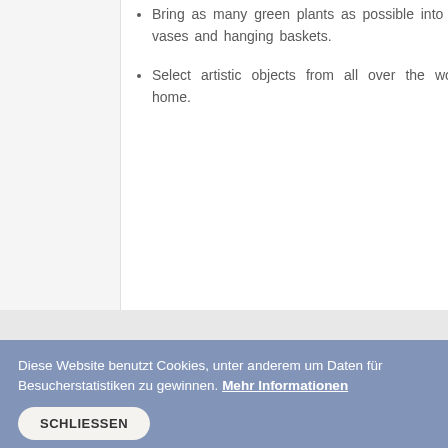Bring as many green plants as possible into your home. Use pots, vases and hanging baskets.
Select artistic objects from all over the world to decorate your home.
Diese Website benutzt Cookies, unter anderem um Daten für Besucherstatistiken zu gewinnen. Mehr Informationen
SCHLIESSEN